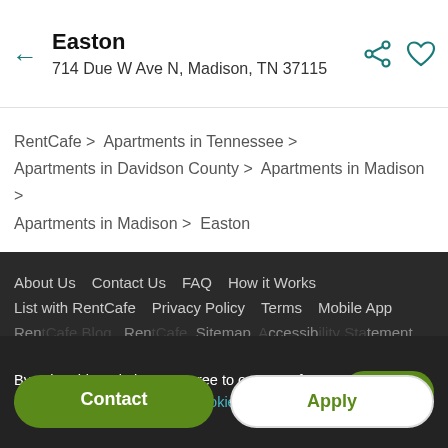Easton — 714 Due W Ave N, Madison, TN 37115
RentCafe > Apartments in Tennessee > Apartments in Davidson County > Apartments in Madison > Apartments in Madison > Easton
About Us  Contact Us  FAQ  How it Works  List with RentCafe  Privacy Policy  Terms  Mobile App  RentCafe Blog  RentCafe  Sitemap  Accessibility Statement  RentCafe Canada
By using this website you agree to our use of cookies as described in our cookie policy.